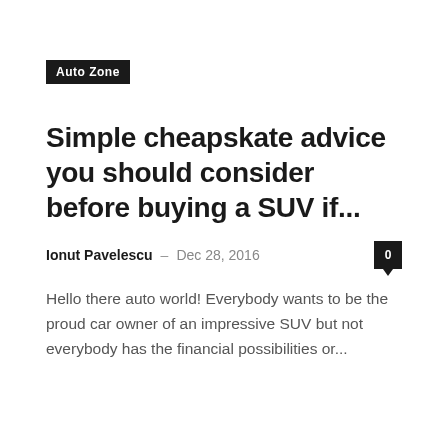Auto Zone
Simple cheapskate advice you should consider before buying a SUV if...
Ionut Pavelescu – Dec 28, 2016
Hello there auto world! Everybody wants to be the proud car owner of an impressive SUV but not everybody has the financial possibilities or...